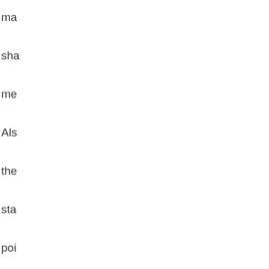ma shi me Als the sta poi is ve dif No sta at 35' Mc at 21'